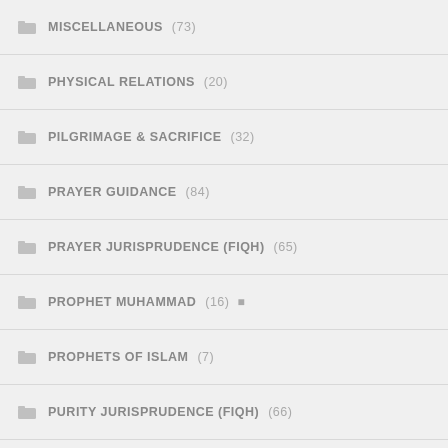MISCELLANEOUS (73)
PHYSICAL RELATIONS (20)
PILGRIMAGE & SACRIFICE (32)
PRAYER GUIDANCE (84)
PRAYER JURISPRUDENCE (FIQH) (65)
PROPHET MUHAMMAD (16) ☪
PROPHETS OF ISLAM (7)
PURITY JURISPRUDENCE (FIQH) (66)
QUR'AN (26)
RAMADAN & FASTING (100)